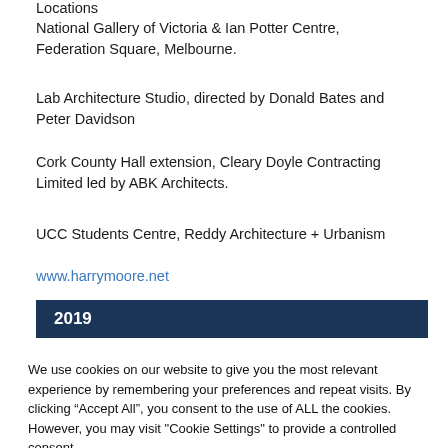Locations
National Gallery of Victoria & Ian Potter Centre, Federation Square, Melbourne.
Lab Architecture Studio, directed by Donald Bates and Peter Davidson
Cork County Hall extension, Cleary Doyle Contracting Limited led by ABK Architects.
UCC Students Centre, Reddy Architecture + Urbanism
www.harrymoore.net
2019
We use cookies on our website to give you the most relevant experience by remembering your preferences and repeat visits. By clicking “Accept All”, you consent to the use of ALL the cookies. However, you may visit "Cookie Settings" to provide a controlled consent.